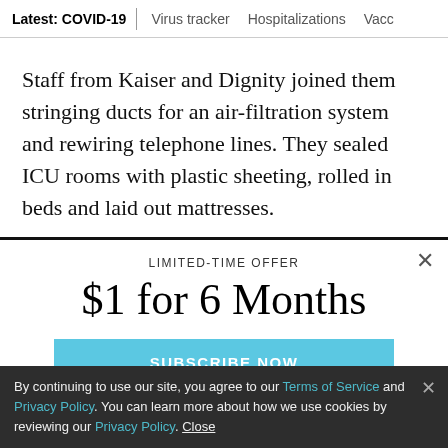Latest: COVID-19 | Virus tracker | Hospitalizations | Vacc...
Staff from Kaiser and Dignity joined them stringing ducts for an air-filtration system and rewiring telephone lines. They sealed ICU rooms with plastic sheeting, rolled in beds and laid out mattresses.
LIMITED-TIME OFFER
$1 for 6 Months
SUBSCRIBE NOW
By continuing to use our site, you agree to our Terms of Service and Privacy Policy. You can learn more about how we use cookies by reviewing our Privacy Policy. Close